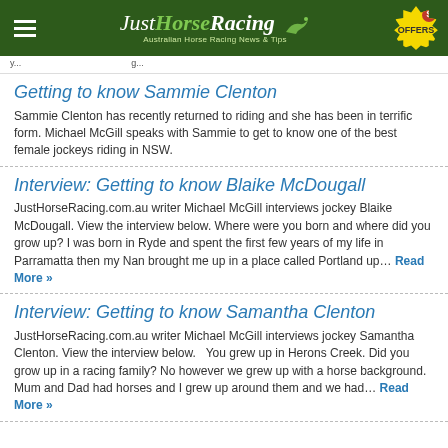JustHorseRacing - Australian Horse Racing News & Tips
Getting to know Sammie Clenton
Sammie Clenton has recently returned to riding and she has been in terrific form. Michael McGill speaks with Sammie to get to know one of the best female jockeys riding in NSW.
Interview: Getting to know Blaike McDougall
JustHorseRacing.com.au writer Michael McGill interviews jockey Blaike McDougall. View the interview below. Where were you born and where did you grow up? I was born in Ryde and spent the first few years of my life in Parramatta then my Nan brought me up in a place called Portland up… Read More »
Interview: Getting to know Samantha Clenton
JustHorseRacing.com.au writer Michael McGill interviews jockey Samantha Clenton. View the interview below.   You grew up in Herons Creek. Did you grow up in a racing family? No however we grew up with a horse background. Mum and Dad had horses and I grew up around them and we had… Read More »